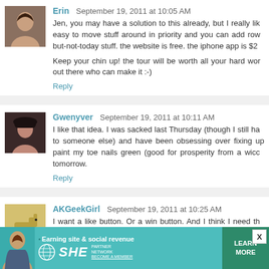Erin — September 19, 2011 at 10:05 AM
Jen, you may have a solution to this already, but I really like easy to move stuff around in priority and you can add row but-not-today stuff. the website is free. the iphone app is $2
Keep your chin up! the tour will be worth all your hard work out there who can make it :-)
Reply
Gwenyver — September 19, 2011 at 10:11 AM
I like that idea. I was sacked last Thursday (though I still ha to someone else) and have been obsessing over fixing up paint my toe nails green (good for prosperity from a wicca tomorrow.
Reply
AKGeekGirl — September 19, 2011 at 10:25 AM
I want a like button. Or a win button. And I think I need tha things look up for you today. :)
Reply
[Figure (infographic): SHE Partner Network advertisement banner with teal background, woman photo, tagline 'Earning site & social revenue', SHE logo, and 'LEARN MORE' green button]